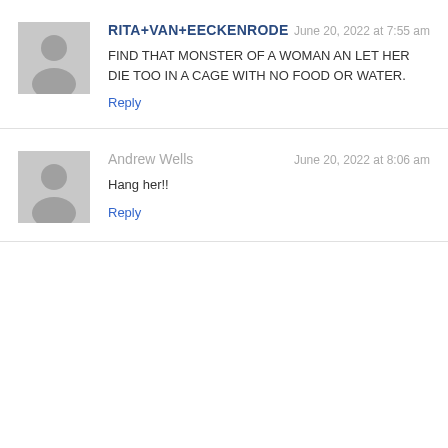RITA+VAN+EECKENRODE — June 20, 2022 at 7:55 am
FIND THAT MONSTER OF A WOMAN AN LET HER DIE TOO IN A CAGE WITH NO FOOD OR WATER.
Reply
Andrew Wells — June 20, 2022 at 8:06 am
Hang her!!
Reply